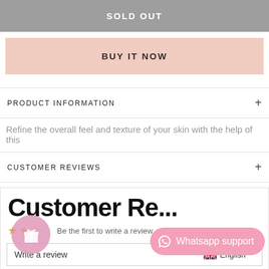SOLD OUT
BUY IT NOW
PRODUCT INFORMATION
Refine the overall feel and texture of your skin with the help of this
CUSTOMER REVIEWS
Customer Reviews
Be the first to write a review
Write a review
English
[Figure (other): Pink circular gift/loyalty widget icon with gift box symbol]
[Figure (other): Pink rounded WhatsApp support button with WhatsApp logo and text 'Whatsapp support']